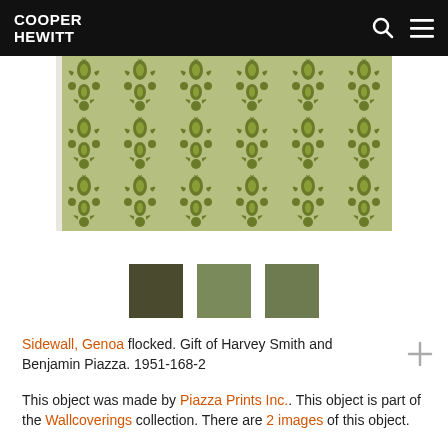COOPER HEWITT
[Figure (photo): Green damask flocked wallpaper sample with ornate repeating floral and foliate pattern on lighter green background]
[Figure (other): Three color swatches extracted from the wallpaper: dark olive, medium sage green, and medium-dark sage green]
Sidewall, Genoa flocked. Gift of Harvey Smith and Benjamin Piazza. 1951-168-2
This object was made by Piazza Prints Inc.. This object is part of the Wallcoverings collection. There are 2 images of this object.